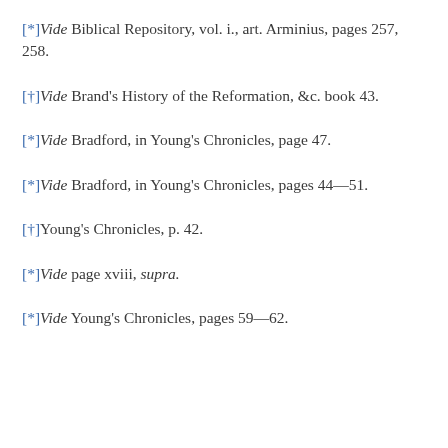[*]Vide Biblical Repository, vol. i., art. Arminius, pages 257, 258.
[†]Vide Brand's History of the Reformation, &c. book 43.
[*]Vide Bradford, in Young's Chronicles, page 47.
[*]Vide Bradford, in Young's Chronicles, pages 44—51.
[†]Young's Chronicles, p. 42.
[*]Vide page xviii, supra.
[*]Vide Young's Chronicles, pages 59—62.